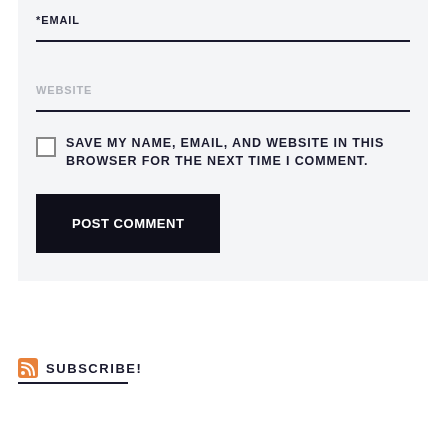*EMAIL
WEBSITE
SAVE MY NAME, EMAIL, AND WEBSITE IN THIS BROWSER FOR THE NEXT TIME I COMMENT.
POST COMMENT
SUBSCRIBE!